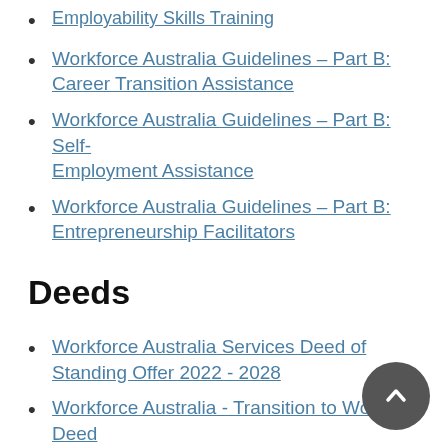Employability Skills Training
Workforce Australia Guidelines – Part B: Career Transition Assistance
Workforce Australia Guidelines – Part B: Self-Employment Assistance
Workforce Australia Guidelines – Part B: Entrepreneurship Facilitators
Deeds
Workforce Australia Services Deed of Standing Offer 2022 - 2028
Workforce Australia - Transition to Work Deed 2022-2027
Workforce Australia - Self-Employment